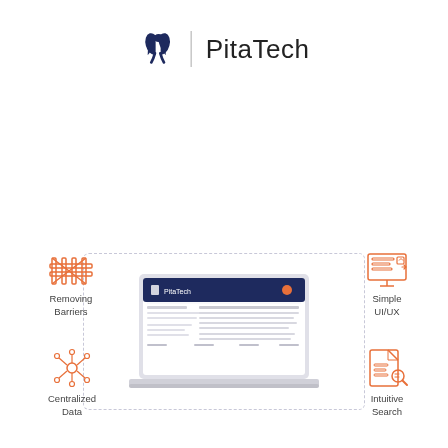[Figure (logo): PitaTech logo with stylized dark navy icon and PitaTech wordmark]
[Figure (infographic): Central laptop mockup showing PitaTech platform UI, surrounded by four feature icons: Removing Barriers (top-left), Simple UI/UX (top-right), Centralized Data (bottom-left), Intuitive Search (bottom-right), all with coral/orange line icons, inside a dashed rounded rectangle border]